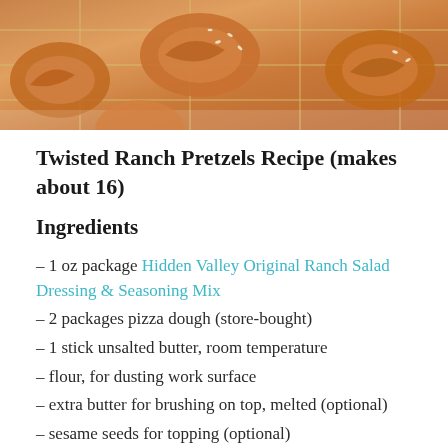[Figure (photo): Top-down photo of golden-brown twisted pretzels with sesame seeds on a white surface with a light grid pattern]
Twisted Ranch Pretzels Recipe (makes about 16)
Ingredients
– 1 oz package Hidden Valley Original Ranch Salad Dressing & Seasoning Mix
– 2 packages pizza dough (store-bought)
– 1 stick unsalted butter, room temperature
– flour, for dusting work surface
– extra butter for brushing on top, melted (optional)
– sesame seeds for topping (optional)